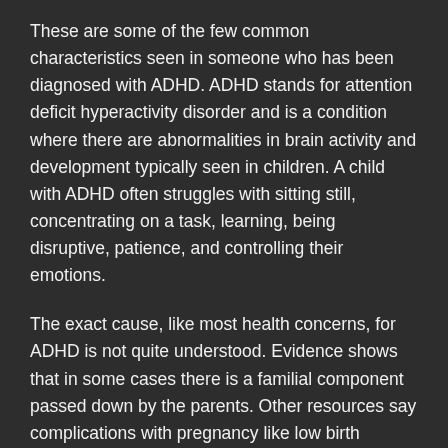These are some of the few common characteristics seen in someone who has been diagnosed with ADHD. ADHD stands for attention deficit hyperactivity disorder and is a condition where there are abnormalities in brain activity and development typically seen in children. A child with ADHD often struggles with sitting still, concentrating on a task, learning, being disruptive, patience, and controlling their emotions.
The exact cause, like most health concerns, for ADHD is not quite understood. Evidence shows that in some cases there is a familial component passed down by the parents. Other resources say complications with pregnancy like low birth